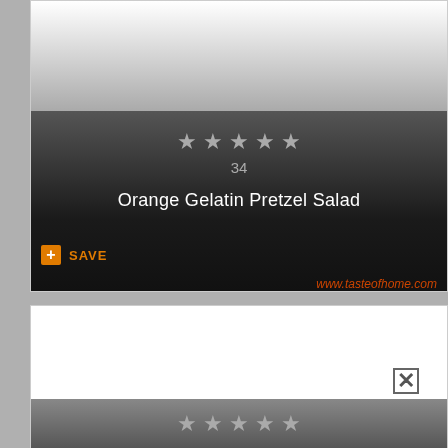[Figure (screenshot): Recipe card with dark gradient background showing 5 star rating, review count 34, and recipe title 'Orange Gelatin Pretzel Salad' with a SAVE button and www.tasteofhome.com URL]
34
Orange Gelatin Pretzel Salad
SAVE
www.tasteofhome.com
[Figure (screenshot): Second recipe card (partial) with white background and 5 star rating at bottom]